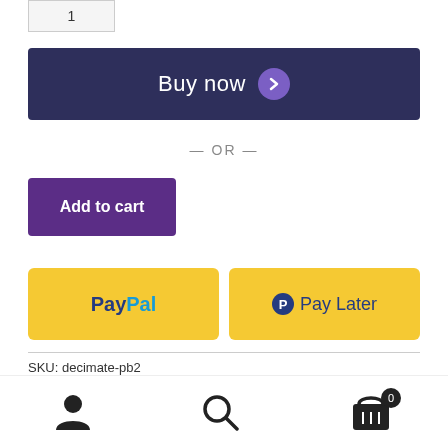[Figure (screenshot): Quantity input box showing value 1]
Buy now →
— OR —
Add to cart
[Figure (logo): PayPal payment button]
[Figure (logo): PayPal Pay Later button]
SKU: decimate-pb2
Categories: Book Format, Kristin Harte, Paperback, Vigilante Justice Series
Navigation bar with user, search, and cart icons